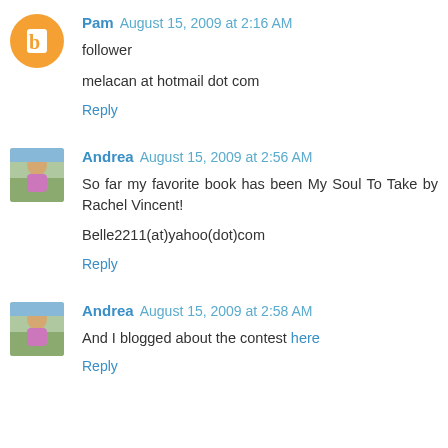Pam  August 15, 2009 at 2:16 AM
follower
melacan at hotmail dot com
Reply
Andrea  August 15, 2009 at 2:56 AM
So far my favorite book has been My Soul To Take by Rachel Vincent!
Belle2211(at)yahoo(dot)com
Reply
Andrea  August 15, 2009 at 2:58 AM
And I blogged about the contest here
Reply